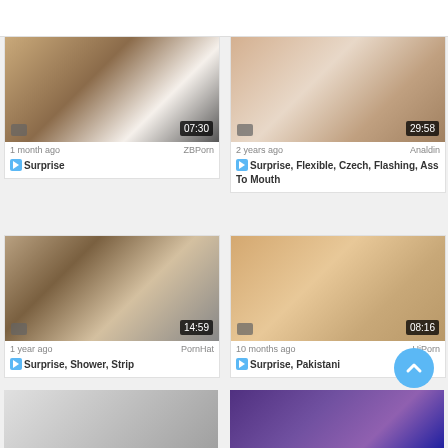[Figure (screenshot): Video thumbnail grid page showing adult video listings with thumbnails, timestamps, dates, source sites, and tags]
1 month ago | ZBPorn
Surprise
2 years ago | Analdin
Surprise, Flexible, Czech, Flashing, Ass To Mouth
1 year ago | PornHat
Surprise, Shower, Strip
10 months ago | UiPorn
Surprise, Pakistani